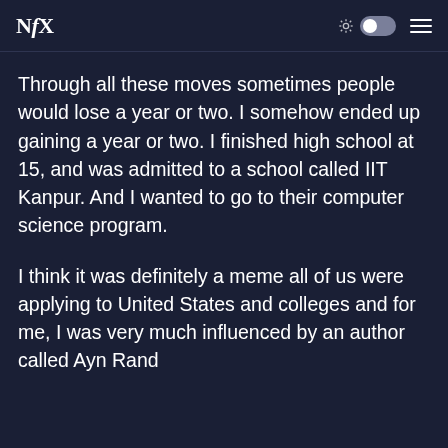NfX
Through all these moves sometimes people would lose a year or two. I somehow ended up gaining a year or two. I finished high school at 15, and was admitted to a school called IIT Kanpur. And I wanted to go to their computer science program.
I think it was definitely a meme all of us were applying to United States and colleges and for me, I was very much influenced by an author called Ayn Rand